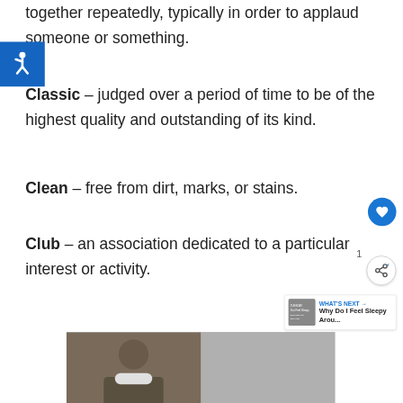together repeatedly, typically in order to applaud someone or something.
[Figure (illustration): Blue accessibility wheelchair icon on dark blue square background]
Classic – judged over a period of time to be of the highest quality and outstanding of its kind.
Clean – free from dirt, marks, or stains.
Club – an association dedicated to a particular interest or activity.
[Figure (photo): Person in military fatigues wearing a face mask, appears to be providing medical assistance]
[Figure (infographic): Advertisement: 43 Children A Day Are Diagnosed With Cancer in the U.S. — cookies for kids cancer — Let's Get Baking]